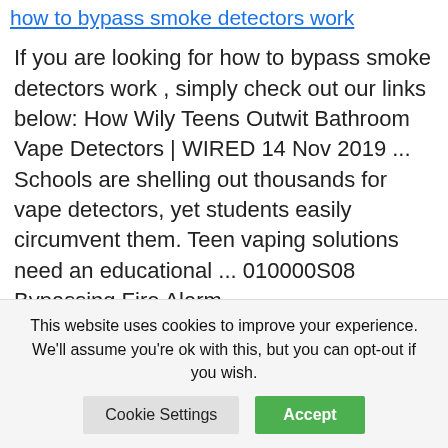how to bypass smoke detectors work
If you are looking for how to bypass smoke detectors work , simply check out our links below: How Wily Teens Outwit Bathroom Vape Detectors | WIRED 14 Nov 2019 ... Schools are shelling out thousands for vape detectors, yet students easily circumvent them. Teen vaping solutions need an educational ... 010000S08 Bypassing Fire Alarm System... Read more
This website uses cookies to improve your experience. We'll assume you're ok with this, but you can opt-out if you wish.